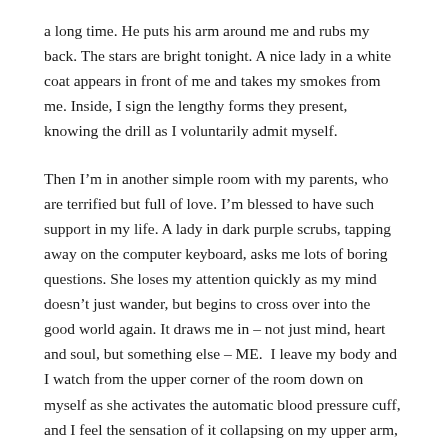a long time. He puts his arm around me and rubs my back. The stars are bright tonight. A nice lady in a white coat appears in front of me and takes my smokes from me. Inside, I sign the lengthy forms they present, knowing the drill as I voluntarily admit myself.
Then I'm in another simple room with my parents, who are terrified but full of love. I'm blessed to have such support in my life. A lady in dark purple scrubs, tapping away on the computer keyboard, asks me lots of boring questions. She loses my attention quickly as my mind doesn't just wander, but begins to cross over into the good world again. It draws me in – not just mind, heart and soul, but something else – ME.  I leave my body and I watch from the upper corner of the room down on myself as she activates the automatic blood pressure cuff, and I feel the sensation of it collapsing on my upper arm, but nothing's there. I'm someplace else.
The night sky fades into the forefront of my eyesight a little